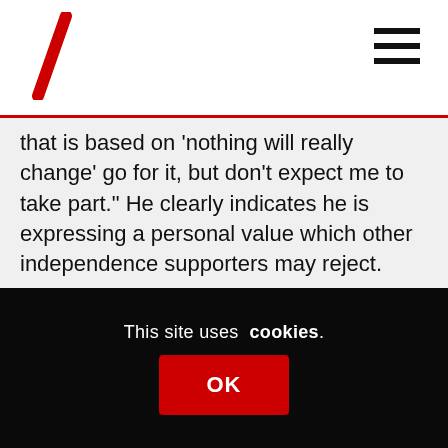that is based on ‘nothing will really change’ go for it, but don’t expect me to take part.” He clearly indicates he is expressing a personal value which other independence supporters may reject.
“This view may earn plaudits on ideologically pure Web forums but it is repellent to a large number, probably a majority, of voters.” Somewhat ambiguous final sentence. Is it referring to the article as a whole or only the reference to the military? If it’s referring to the aggressive militarism – masquerading as ‘defence’ – beloved of
This site uses cookies. OK